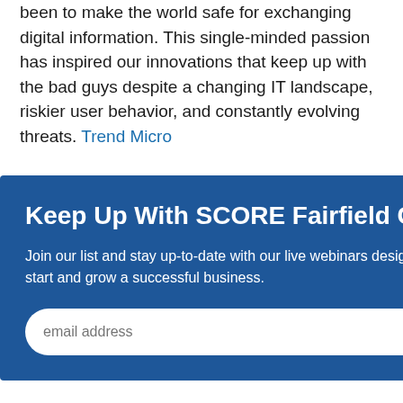been to make the world safe for exchanging digital information. This single-minded passion has inspired our innovations that keep up with the bad guys despite a changing IT landscape, riskier user behavior, and constantly evolving threats. Trend Micro
[Figure (screenshot): Modal popup overlay from SCORE Fairfield County with title 'Keep Up With SCORE Fairfield County', body text about joining a list for live webinars, an email address input field, and a SUBMIT button. A close (×) button is in the top right corner.]
More from Trend Micro
ABOUT THE AUTHOR(S)